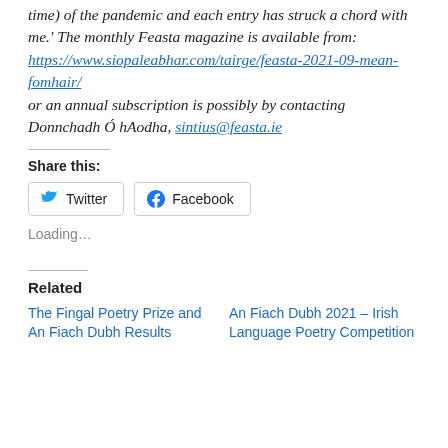time) of the pandemic and each entry has struck a chord with me.' The monthly Feasta magazine is available from: https://www.siopaleabhar.com/tairge/feasta-2021-09-mean-fomhair/ or an annual subscription is possibly by contacting Donnchadh Ó hAodha, sintius@feasta.ie
Share this:
Twitter  Facebook
Loading…
Related
The Fingal Poetry Prize and An Fiach Dubh Results
An Fiach Dubh 2021 – Irish Language Poetry Competition